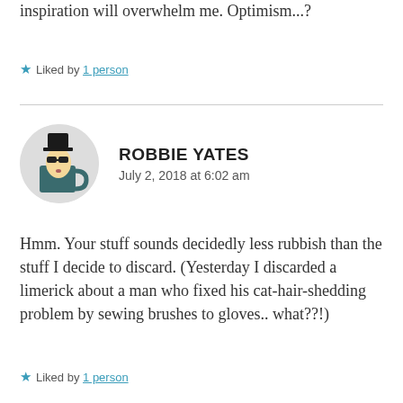inspiration will overwhelm me. Optimism...?
Liked by 1 person
ROBBIE YATES
July 2, 2018 at 6:02 am
[Figure (illustration): Circular avatar showing a cartoon character — an egg-shaped figure wearing a black fedora hat and sunglasses, sitting inside a dark teal mug]
Hmm. Your stuff sounds decidedly less rubbish than the stuff I decide to discard. (Yesterday I discarded a limerick about a man who fixed his cat-hair-shedding problem by sewing brushes to gloves.. what??!)
Liked by 1 person